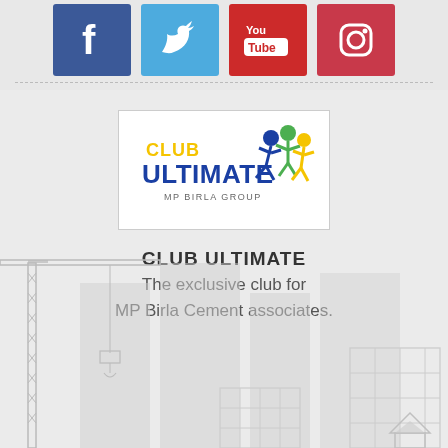[Figure (infographic): Social media icons row: Facebook (dark blue), Twitter (light blue), YouTube (dark red), Instagram (red/pink)]
[Figure (logo): Club Ultimate MP Birla Group logo — stylized figures in blue, green, yellow with yellow 'CLUB' text and blue 'ULTIMATE' text]
CLUB ULTIMATE
The exclusive club for MP Birla Cement associates.
[Figure (illustration): Construction scene with cranes, scaffolding, and buildings in light gray outline style]